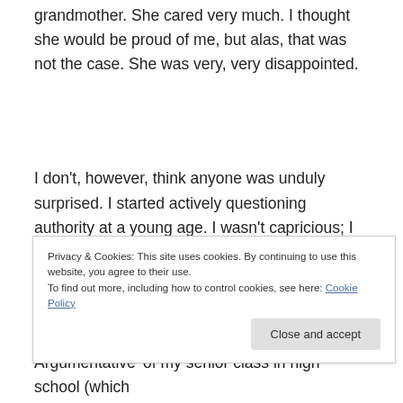grandmother. She cared very much. I thought she would be proud of me, but alas, that was not the case. She was very, very disappointed.
I don't, however, think anyone was unduly surprised. I started actively questioning authority at a young age. I wasn't capricious; I was vigilant. I asked for clarification when things were unclear, or the authority figure contradicted himself. I pointed out inequities in nations
Privacy & Cookies: This site uses cookies. By continuing to use this website, you agree to their use.
To find out more, including how to control cookies, see here: Cookie Policy
Argumentative' of my senior class in high school (which